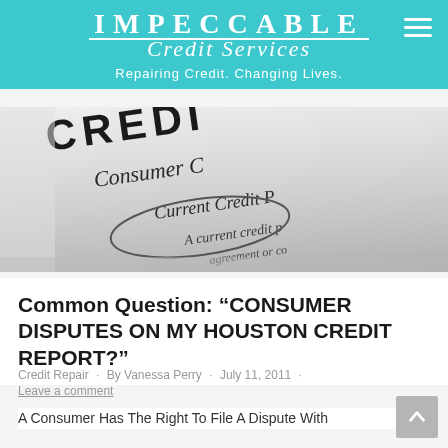IMPECCABLE Credit Services — Repairing Credit. Changing Lives.
[Figure (photo): Close-up photo of a document showing text: CREDIT, Consumer Credit, Current Credit Profile, A current credit profile or co...]
Common Question: “CONSUMER DISPUTES ON MY HOUSTON CREDIT REPORT?”
Credit Repair • By Vanessa Perry • July 11, 2011 •
Leave a comment
A Consumer Has The Right To File A Dispute With